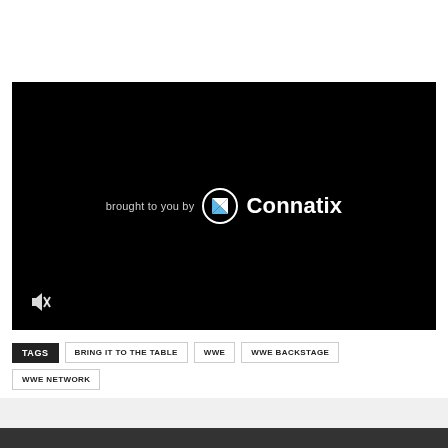[Figure (screenshot): Black video player frame with 'brought to you by Connatix' logo centered, mute icon at bottom-left]
TAGS  BRING IT TO THE TABLE  WWE  WWE BACKSTAGE  WWE NETWORK